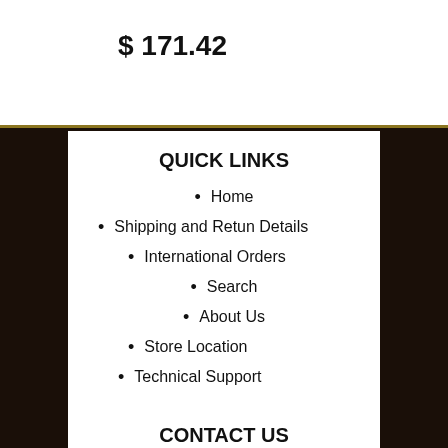$ 171.42
QUICK LINKS
Home
Shipping and Retun Details
International Orders
Search
About Us
Store Location
Technical Support
CONTACT US
Montana Jack's Outpost
401 4th Street South
Great Falls, MT 59405